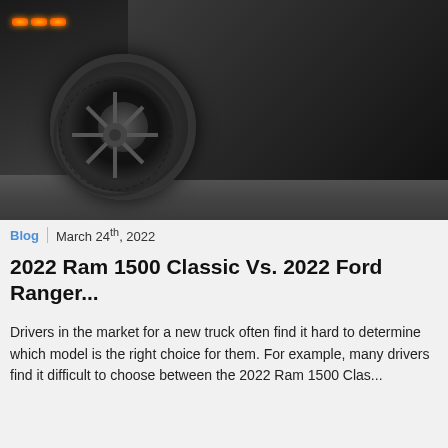[Figure (photo): Close-up photo of a dark/black truck (Ram 1500) showing the front wheel, tire, and lower body panel. Amber running lights visible at top left. Ground/road surface visible at bottom.]
Blog | March 24th, 2022
2022 Ram 1500 Classic Vs. 2022 Ford Ranger...
Drivers in the market for a new truck often find it hard to determine which model is the right choice for them. For example, many drivers find it difficult to choose between the 2022 Ram 1500 Clas...